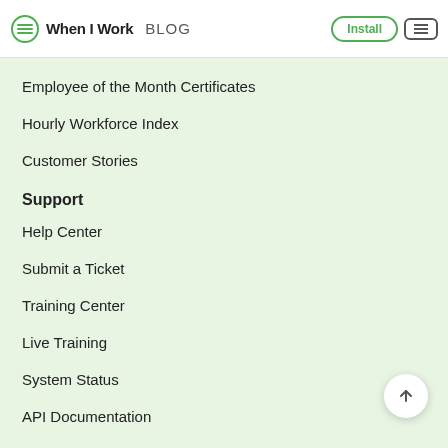When I Work BLOG | Install
Employee of the Month Certificates
Hourly Workforce Index
Customer Stories
Support
Help Center
Submit a Ticket
Training Center
Live Training
System Status
API Documentation
Company
About